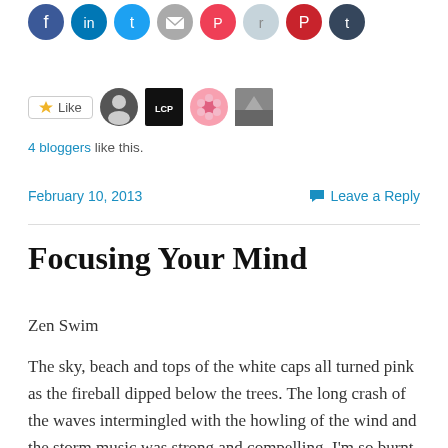[Figure (infographic): Row of social media sharing icon buttons (Facebook, LinkedIn, Twitter, Email, Pocket, Reddit, Pinterest, Tumblr) as colored circles at the top of the page]
[Figure (infographic): Like button with star icon and four blogger avatar thumbnails (person, LCP logo, pink flower, outdoor scene)]
4 bloggers like this.
February 10, 2013
Leave a Reply
Focusing Your Mind
Zen Swim
The sky, beach and tops of the white caps all turned pink as the fireball dipped below the trees. The long crash of the waves intermingled with the howling of the wind and the storm music was strong and compelling. I'm so burnt out I have less love to give and my heart is paper-thin but the sorrows of my heart vanish when I swim. I plunged into